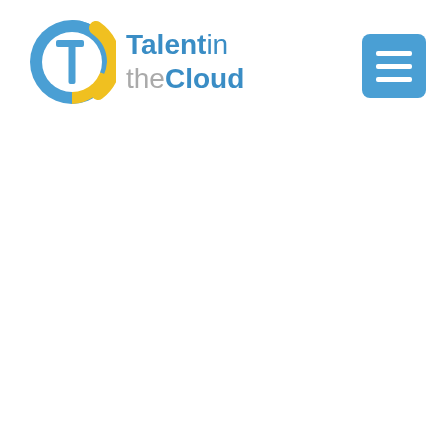[Figure (logo): Talent in the Cloud logo: circular icon with blue T letter and yellow arc, followed by text 'Talent in the Cloud']
[Figure (other): Blue square menu/hamburger button with three horizontal white bars, positioned in the top right corner]